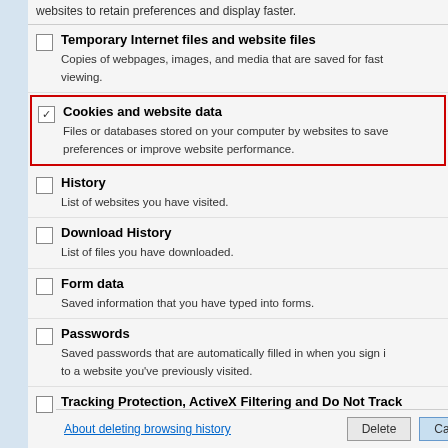websites to retain preferences and display faster.
Temporary Internet files and website files
Copies of webpages, images, and media that are saved for faster viewing.
Cookies and website data
Files or databases stored on your computer by websites to save preferences or improve website performance.
History
List of websites you have visited.
Download History
List of files you have downloaded.
Form data
Saved information that you have typed into forms.
Passwords
Saved passwords that are automatically filled in when you sign in to a website you've previously visited.
Tracking Protection, ActiveX Filtering and Do Not Track
A list of websites excluded from filtering, data used by Tracking Protection to detect where sites might automatically be sharing about your visit, and exceptions to Do Not Track requests.
About deleting browsing history
Delete
Cancel